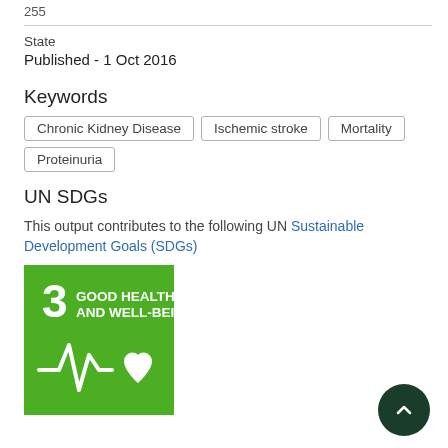255
State
Published - 1 Oct 2016
Keywords
Chronic Kidney Disease
Ischemic stroke
Mortality
Proteinuria
UN SDGs
This output contributes to the following UN Sustainable Development Goals (SDGs)
[Figure (logo): UN SDG 3 badge - Good Health and Well-Being, green square with number 3, heart rate line and heart icon]